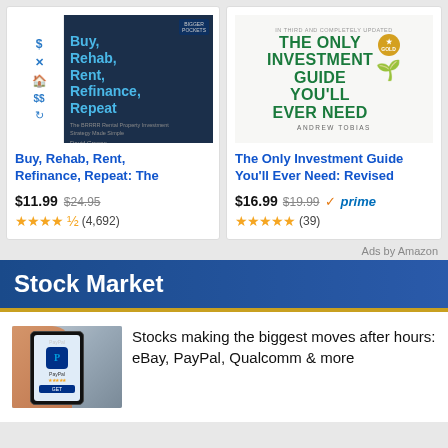[Figure (illustration): Book cover: Buy, Rehab, Rent, Refinance, Repeat]
Buy, Rehab, Rent, Refinance, Repeat: The
$11.99 $24.95 ★★★★½ (4,692)
[Figure (illustration): Book cover: The Only Investment Guide You'll Ever Need by Andrew Tobias]
The Only Investment Guide You'll Ever Need: Revised
$16.99 $19.99 prime ★★★★★ (39)
Ads by Amazon
Stock Market
[Figure (photo): Person holding a smartphone showing the PayPal app]
Stocks making the biggest moves after hours: eBay, PayPal, Qualcomm & more